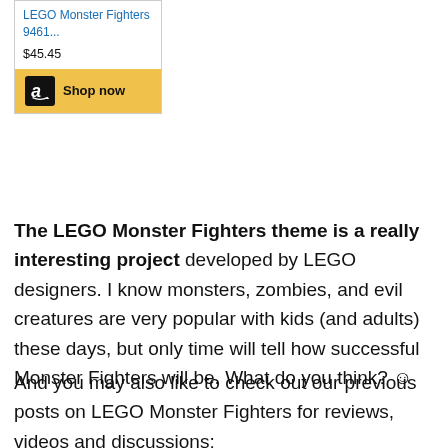[Figure (other): Amazon product listing widget showing LEGO Monster Fighters 9461 priced at $45.45 with a Shop now button]
The LEGO Monster Fighters theme is a really interesting project developed by LEGO designers. I know monsters, zombies, and evil creatures are very popular with kids (and adults) these days, but only time will tell how successful Monster Fighters will be. What do you think? ☺
And you may also like to check out our previous posts on LEGO Monster Fighters for reviews, videos and discussions: